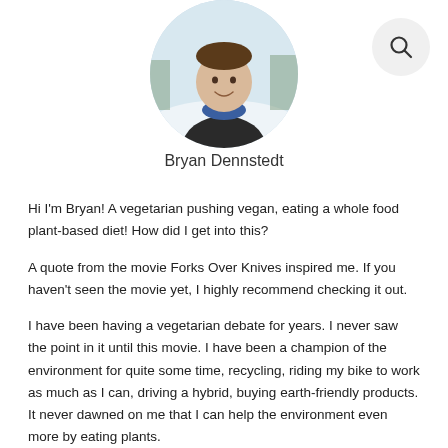[Figure (photo): Circular profile photo of Bryan Dennstedt, a person in a dark jacket and blue scarf, outdoors in a snowy setting]
Bryan Dennstedt
Hi I'm Bryan! A vegetarian pushing vegan, eating a whole food plant-based diet! How did I get into this?
A quote from the movie Forks Over Knives inspired me. If you haven't seen the movie yet, I highly recommend checking it out.
I have been having a vegetarian debate for years. I never saw the point in it until this movie. I have been a champion of the environment for quite some time, recycling, riding my bike to work as much as I can, driving a hybrid, buying earth-friendly products. It never dawned on me that I can help the environment even more by eating plants.